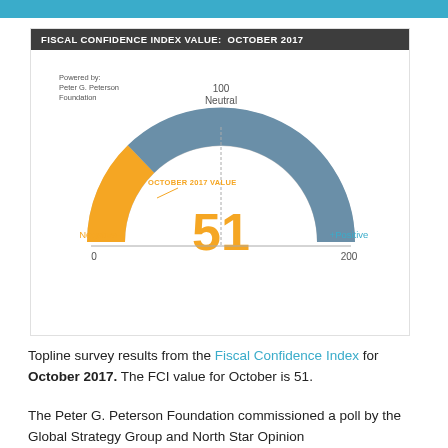[Figure (donut-chart): Half-donut gauge chart showing FCI value of 51 out of 200. Orange arc from 0 to 51, gray-blue arc from 51 to 200. Center label shows 51 in orange. Negative on left, +Positive on right, 100 Neutral at top.]
Topline survey results from the Fiscal Confidence Index for October 2017. The FCI value for October is 51.
The Peter G. Peterson Foundation commissioned a poll by the Global Strategy Group and North Star Opinion